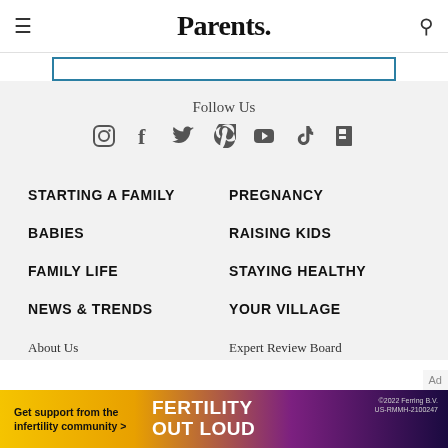Parents.
[Figure (illustration): Social media icons row: Instagram, Facebook, Twitter, Pinterest, YouTube, TikTok, Flipboard]
Follow Us
STARTING A FAMILY
PREGNANCY
BABIES
RAISING KIDS
FAMILY LIFE
STAYING HEALTHY
NEWS & TRENDS
YOUR VILLAGE
About Us
Expert Review Board
[Figure (infographic): Advertisement banner: Get support from the infertility community > FERTILITY OUT LOUD. ©2022 Ferring B.V. US-RMMH-2100247]